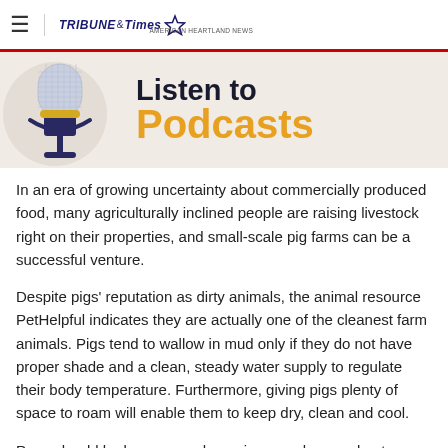Tribune & Times
[Figure (illustration): Podcast banner with microphone illustration on left and text 'Listen to Podcasts' on right]
In an era of growing uncertainty about commercially produced food, many agriculturally inclined people are raising livestock right on their properties, and small-scale pig farms can be a successful venture.
Despite pigs' reputation as dirty animals, the animal resource PetHelpful indicates they are actually one of the cleanest farm animals. Pigs tend to wallow in mud only if they do not have proper shade and a clean, steady water supply to regulate their body temperature. Furthermore, giving pigs plenty of space to roam will enable them to keep dry, clean and cool.
Pens should be large enough so pigs can sleep and eat on one end and use the other end for soiling. Pigs also are